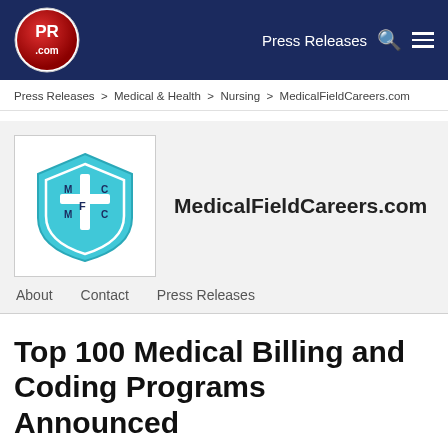Press Releases
Press Releases > Medical & Health > Nursing > MedicalFieldCareers.com
[Figure (logo): MedicalFieldCareers.com shield logo with MFC letters in teal]
MedicalFieldCareers.com
About  Contact  Press Releases
Top 100 Medical Billing and Coding Programs Announced